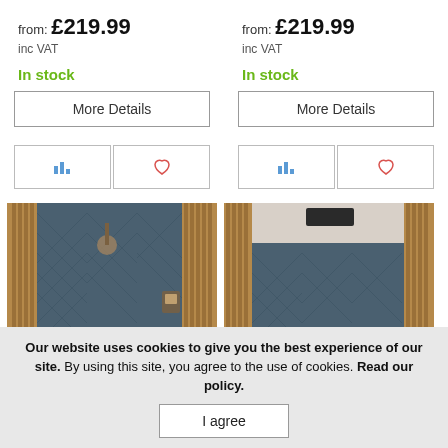from: £219.99
inc VAT
In stock
More Details
from: £219.99
inc VAT
In stock
More Details
[Figure (photo): Shower room with blue herringbone tiles and wooden slat panels, wall-mounted shower head]
[Figure (photo): Shower room with blue herringbone tiles and wooden slat panels, ceiling-mounted shower head]
Our website uses cookies to give you the best experience of our site. By using this site, you agree to the use of cookies. Read our policy.
I agree